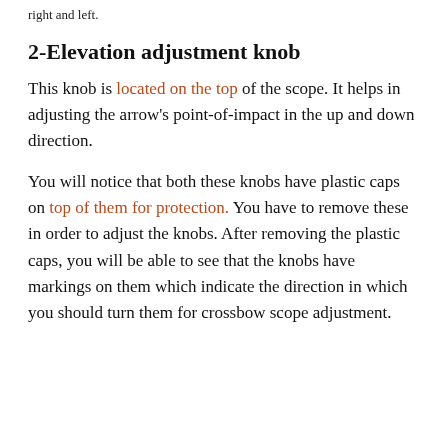right and left.
2-Elevation adjustment knob
This knob is located on the top of the scope. It helps in adjusting the arrow's point-of-impact in the up and down direction.
You will notice that both these knobs have plastic caps on top of them for protection. You have to remove these in order to adjust the knobs. After removing the plastic caps, you will be able to see that the knobs have markings on them which indicate the direction in which you should turn them for crossbow scope adjustment.